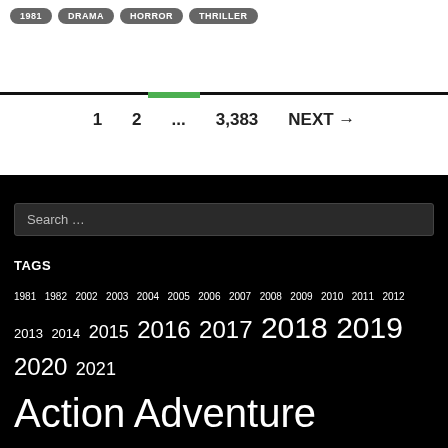1981  DRAMA  HORROR  THRILLER
1  2  ...  3,383  NEXT →
Search …
TAGS
1981 1982 2002 2003 2004 2005 2006 2007 2008 2009 2010 2011 2012 2013 2014 2015 2016 2017 2018 2019 2020 2021 Action Adventure Animation Biography Comedy Crime Documentary Drama Family Fantasy Film Noir History Horror Music Musical